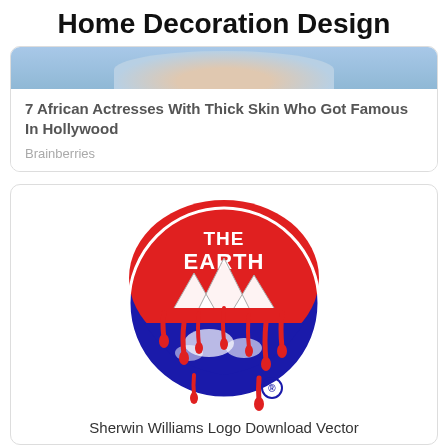Home Decoration Design
[Figure (photo): Partial photo of a smiling person, cropped at top]
7 African Actresses With Thick Skin Who Got Famous In Hollywood
Brainberries
[Figure (logo): Sherwin Williams logo: red circle with 'THE EARTH' text at top, paint dripping over a globe motif in red, white, and blue, with registered trademark symbol]
Sherwin Williams Logo Download Vector